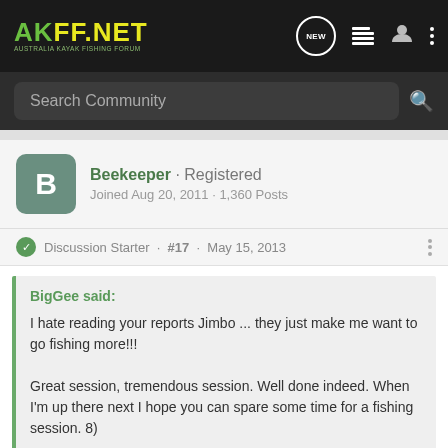AKFF.NET AUSTRALIA KAYAK FISHING FORUM
Search Community
Beekeeper · Registered
Joined Aug 20, 2011 · 1,360 Posts
Discussion Starter · #17 · May 15, 2013
BigGee said:
I hate reading your reports Jimbo ... they just make me want to go fishing more!!!

Great session, tremendous session. Well done indeed. When I'm up there next I hope you can spare some time for a fishing session. 8)

Gee
Why no...he
[Figure (screenshot): Advertisement banner: YOUR NEW FAVORITE SPORT - EXPLORE HOW TO RESPONSIBLY PARTICIPATE IN THE SHOOTING SPORTS. START HERE!]